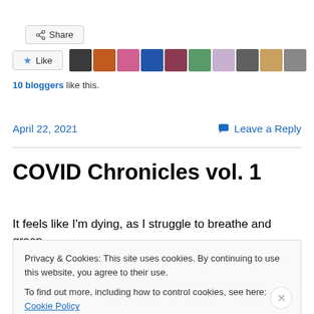[Figure (screenshot): Share button with share icon]
[Figure (screenshot): Like button with star icon and a row of 10 blogger avatar thumbnails]
10 bloggers like this.
April 22, 2021    Leave a Reply
COVID Chronicles vol. 1
It feels like I'm dying, as I struggle to breathe and grasp
Privacy & Cookies: This site uses cookies. By continuing to use this website, you agree to their use.
To find out more, including how to control cookies, see here: Cookie Policy
Close and accept